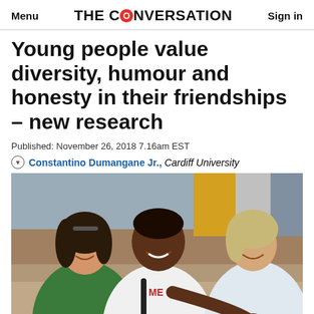Menu | THE CONVERSATION | Sign in
Young people value diversity, humour and honesty in their friendships – new research
Published: November 26, 2018 7.16am EST
Constantino Dumangane Jr., Cardiff University
[Figure (photo): Three young people sitting together outdoors laughing and smiling. A young woman in a green hoodie on the left, a young Black man in a white t-shirt in the middle, and a young woman with light hair on the right.]